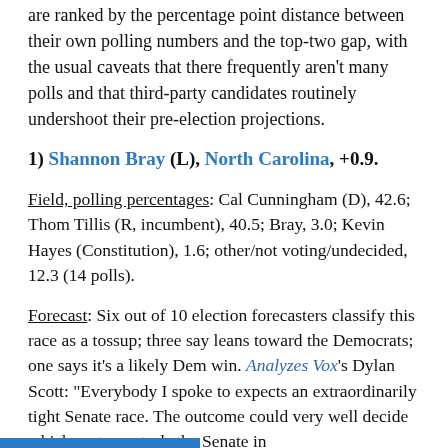are ranked by the percentage point distance between their own polling numbers and the top-two gap, with the usual caveats that there frequently aren't many polls and that third-party candidates routinely undershoot their pre-election projections.
1) Shannon Bray (L), North Carolina, +0.9.
Field, polling percentages: Cal Cunningham (D), 42.6; Thom Tillis (R, incumbent), 40.5; Bray, 3.0; Kevin Hayes (Constitution), 1.6; other/not voting/undecided, 12.3 (14 polls).
Forecast: Six out of 10 election forecasters classify this race as a tossup; three say leans toward the Democrats; one says it's a likely Dem win. Analyzes Vox's Dylan Scott: "Everybody I spoke to expects an extraordinarily tight Senate race. The outcome could very well decide which party controls the Senate in